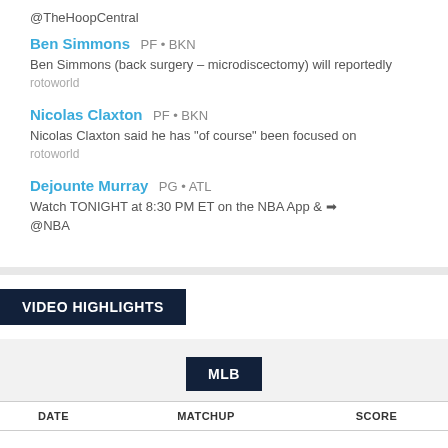@TheHoopCentral
Ben Simmons  PF • BKN
Ben Simmons (back surgery – microdiscectomy) will reportedly
rotoworld
Nicolas Claxton  PF • BKN
Nicolas Claxton said he has "of course" been focused on
rotoworld
Dejounte Murray  PG • ATL
Watch TONIGHT at 8:30 PM ET on the NBA App & ➡
@NBA
VIDEO HIGHLIGHTS
MLB
| DATE | MATCHUP | SCORE |
| --- | --- | --- |
| No highlights |  |  |
No highlights